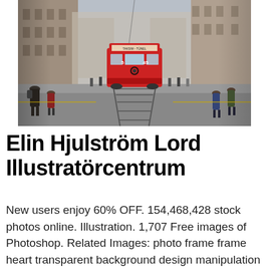[Figure (photo): Street-level photograph of İstiklal Avenue in Istanbul, Turkey. A red vintage tram is coming toward the camera down the center of a busy pedestrian street. Buildings line both sides. People are walking on the sidewalks.]
Elin Hjulström Lord Illustratörcentrum
New users enjoy 60% OFF. 154,468,428 stock photos online. Illustration. 1,707 Free images of Photoshop. Related Images: photo frame frame heart transparent background design manipulation banner love fantasy photoshop.